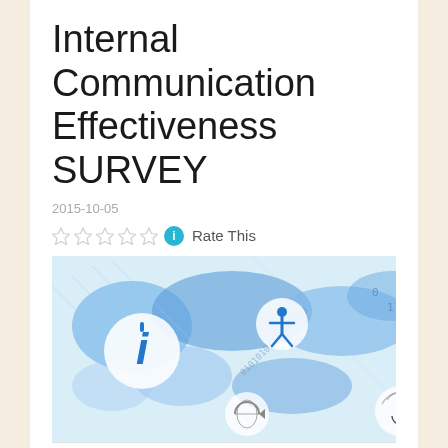Internal Communication Effectiveness SURVEY
2015-10-05
Rate This
[Figure (illustration): A blue-toned world map illustration with communication icons: a white circle with a blue letter i (information), a person/accessibility icon in a circle, binary digits (0,1,0) visible on the right, a circular arrow icon at the bottom center, and a microphone/speaker icon at bottom right. The background has hand-drawn style blue shading suggesting a world map.]
Internal communications should go at least in two directions: from the leaders to the people and from